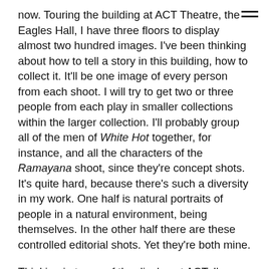now. Touring the building at ACT Theatre, the Eagles Hall, I have three floors to display almost two hundred images. I've been thinking about how to tell a story in this building, how to collect it. It'll be one image of every person from each shoot. I will try to get two or three people from each play in smaller collections within the larger collection. I'll probably group all of the men of White Hot together, for instance, and all the characters of the Ramayana shoot, since they're concept shots. It's quite hard, because there's such a diversity in my work. One half is natural portraits of people in a natural environment, being themselves. In the other half there are these controlled editorial shots. Yet they're both mine.
Thinking in terms of the display at ACT, I'm leaning toward floor by floor display, with the natural environment shots on one floor and the more editorial work on another floor. And some big pictures for display of course. Buy, buy, buy! (laughs) I'm also rethinking and rebranding the website,